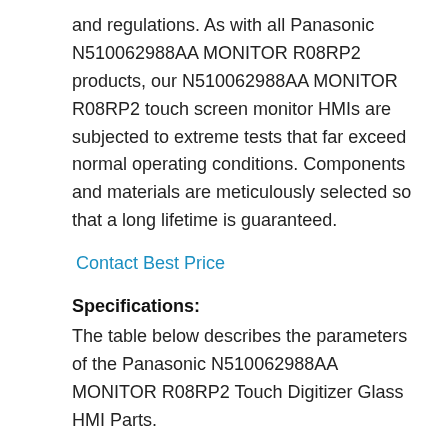and regulations. As with all Panasonic N510062988AA MONITOR R08RP2 products, our N510062988AA MONITOR R08RP2 touch screen monitor HMIs are subjected to extreme tests that far exceed normal operating conditions. Components and materials are meticulously selected so that a long lifetime is guaranteed.
Contact Best Price
Specifications:
The table below describes the parameters of the Panasonic N510062988AA MONITOR R08RP2 Touch Digitizer Glass HMI Parts.
| Brand: |  |
| --- | --- |
| Brand: | Panasonic |